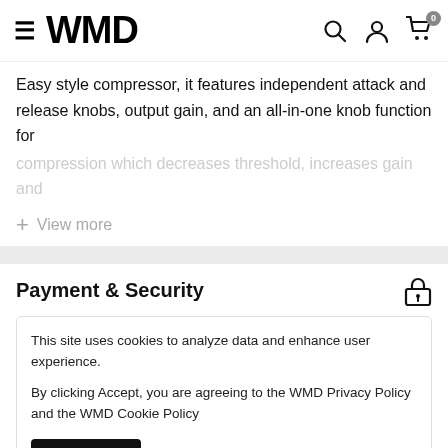WMD
Easy style compressor, it features independent attack and release knobs, output gain, and an all-in-one knob function for compression which decreases threshold, increases gain and
+ View more
Payment & Security
This site uses cookies to analyze data and enhance user experience.

By clicking Accept, you are agreeing to the WMD Privacy Policy and the WMD Cookie Policy

Accept
information.